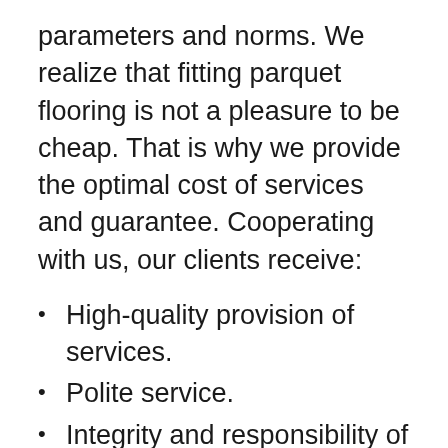parameters and norms. We realize that fitting parquet flooring is not a pleasure to be cheap. That is why we provide the optimal cost of services and guarantee. Cooperating with us, our clients receive:
High-quality provision of services.
Polite service.
Integrity and responsibility of our masters.
Ability to control each stage of w ▲
Possibility to order under-key parquet laying.
Free consultation on material